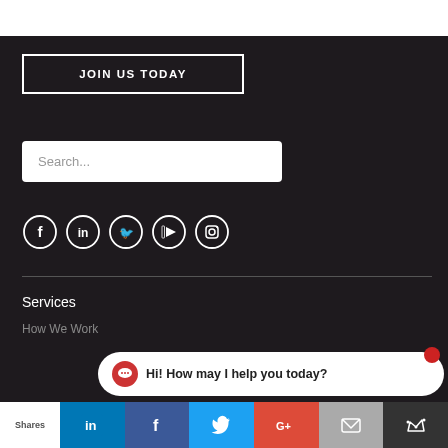[Figure (screenshot): White top bar area]
JOIN US TODAY
Search...
[Figure (illustration): Social media icons: Facebook, LinkedIn, Twitter, YouTube, Instagram — white circle outlines on dark background]
Services
How We Work
Hi! How may I help you today?
Shares | LinkedIn | Facebook | Twitter | Google+ | Email | Crown